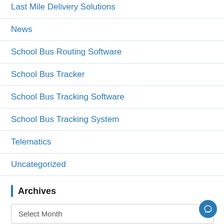Last Mile Delivery Solutions
News
School Bus Routing Software
School Bus Tracker
School Bus Tracking Software
School Bus Tracking System
Telematics
Uncategorized
Archives
Select Month